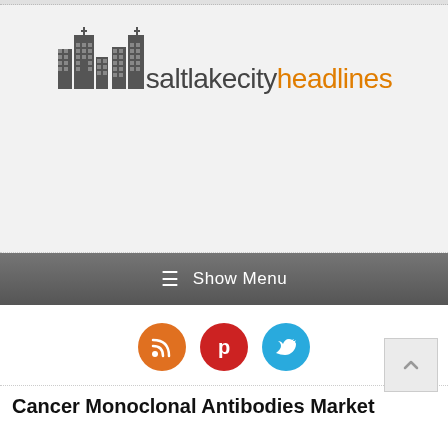[Figure (logo): Salt Lake City Headlines logo with building silhouettes and site name in dark and orange text]
≡  Show Menu
[Figure (infographic): Row of three circular social media buttons: RSS (orange), Pinterest (red), Twitter (blue)]
Cancer Monoclonal Antibodies Market